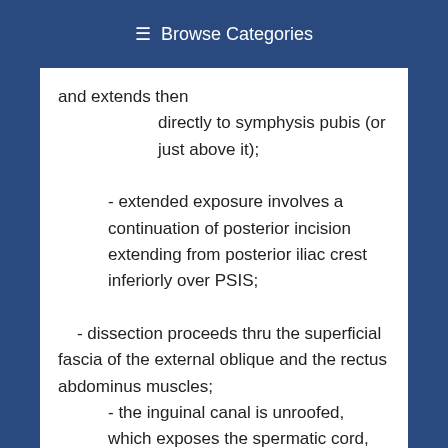≡ Browse Categories
and extends then directly to symphysis pubis (or just above it); - extended exposure involves a continuation of posterior incision extending from posterior iliac crest inferiorly over PSIS; - dissection proceeds thru the superficial fascia of the external oblique and the rectus abdominus muscles; - the inguinal canal is unroofed, which exposes the spermatic cord, which contains the vans deferens (round ligament), and the ilioinguinal nerve;